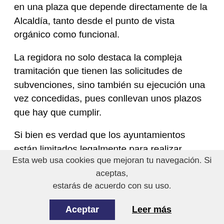en una plaza que depende directamente de la Alcaldía, tanto desde el punto de vista orgánico como funcional.
La regidora no solo destaca la compleja tramitación que tienen las solicitudes de subvenciones, sino también su ejecución una vez concedidas, pues conllevan unos plazos que hay que cumplir.
Si bien es verdad que los ayuntamientos están limitados legalmente para realizar contrataciones, lo que se ha hecho en este caso es convertir una plaza ya existente que no se había cubierto. Para ello hubo que cambiar su catalogación, previa negociación con
Esta web usa cookies que mejoran tu navegación. Si aceptas, estarás de acuerdo con su uso.